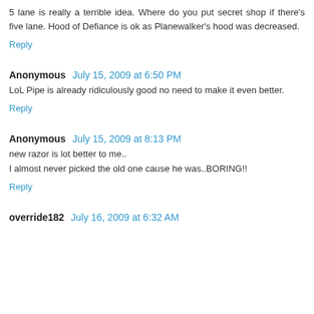5 lane is really a terrible idea. Where do you put secret shop if there's five lane. Hood of Defiance is ok as Planewalker's hood was decreased.
Reply
Anonymous  July 15, 2009 at 6:50 PM
LoL Pipe is already ridiculously good no need to make it even better.
Reply
Anonymous  July 15, 2009 at 8:13 PM
new razor is lot better to me.. I almost never picked the old one cause he was..BORING!!
Reply
override182  July 16, 2009 at 6:32 AM